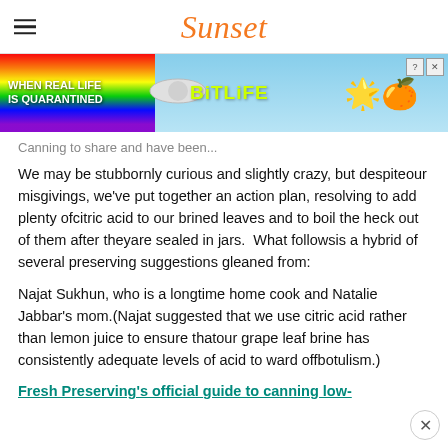Sunset
[Figure (infographic): BitLife advertisement banner with rainbow gradient, text 'WHEN REAL LIFE IS QUARANTINED' and 'BitLife' logo with emoji characters]
Canning to share and have been...
We may be stubbornly curious and slightly crazy, but despiteour misgivings, we've put together an action plan, resolving to add plenty ofcitric acid to our brined leaves and to boil the heck out of them after theyare sealed in jars.  What followsis a hybrid of several preserving suggestions gleaned from:
Najat Sukhun, who is a longtime home cook and Natalie Jabbar's mom.(Najat suggested that we use citric acid rather than lemon juice to ensure thatour grape leaf brine has consistently adequate levels of acid to ward offbotulism.)
Fresh Preserving's official guide to canning low-